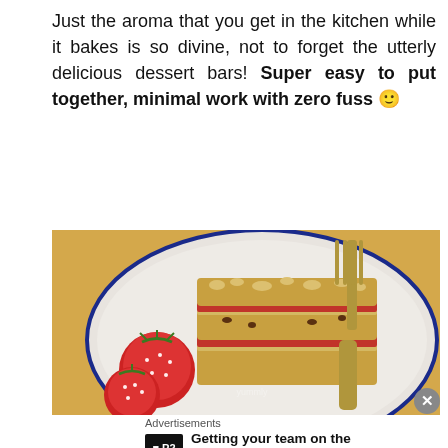Just the aroma that you get in the kitchen while it bakes is so divine, not to forget the utterly delicious dessert bars! Super easy to put together, minimal work with zero fuss 🙂
[Figure (photo): A white speckled plate with a blue rim holding stacked strawberry crumble dessert bars with a fork, accompanied by fresh strawberries on the side, on a yellow background.]
Advertisements
Getting your team on the same page is easy. And free.